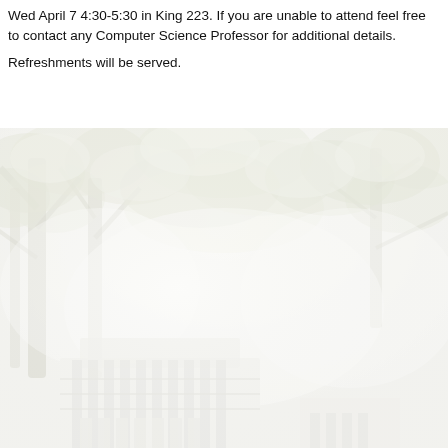Wed April 7 4:30-5:30 in King 223.  If you are  unable to attend feel free to contact any Computer Science Professor for additional details.

Refreshments will be served.
[Figure (photo): Washed-out outdoor photo of a white university building with columns visible at the bottom, surrounded by overexposed trees with white blossoms or foliage against a very bright sky.]